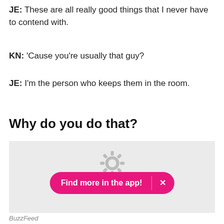JE: These are all really good things that I never have to contend with.
KN: 'Cause you're usually that guy?
JE: I'm the person who keeps them in the room.
Why do you do that?
[Figure (screenshot): A light gray media placeholder box with a spinning/loading gear icon in the center and a pink 'Find more in the app!' button with an X at the bottom.]
BuzzFeed